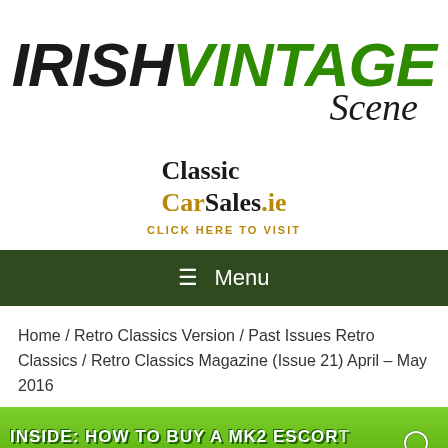[Figure (logo): Irish Vintage Scene magazine logo — IRISH in bold black italic, VINTAGE in bold green italic, Scene in black italic script below]
[Figure (logo): Classic CarSales.ie advertisement logo with CLICK HERE TO VISIT link text in gold]
≡  Menu
Home / Retro Classics Version / Past Issues Retro Classics / Retro Classics Magazine (Issue 21) April – May 2016
[Figure (photo): Bottom banner image showing green background with text: INSIDE: HOW TO BUY A MK2 ESCORT, and a search icon on the lower right]